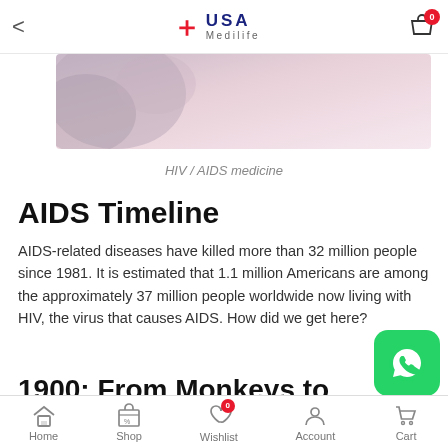< USA Medilife [cart: 0]
[Figure (photo): Partial hero image showing a medical/skin close-up photo with pink and grey tones]
HIV / AIDS medicine
AIDS Timeline
AIDS-related diseases have killed more than 32 million people since 1981. It is estimated that 1.1 million Americans are among the approximately 37 million people worldwide now living with HIV, the virus that causes AIDS. How did we get here?
1900: From Monkeys to People
Home  Shop  Wishlist [0]  Account  Cart